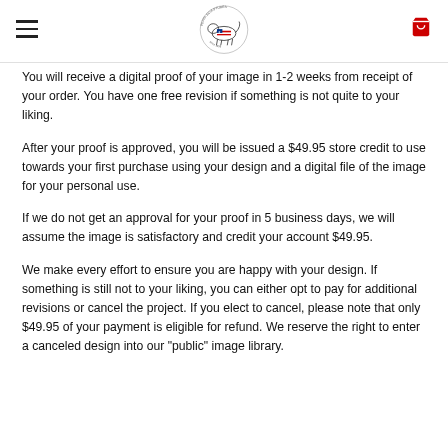[Logo: Peppa Sculptures] [Hamburger menu] [Cart icon]
You will receive a digital proof of your image in 1-2 weeks from receipt of your order.  You have one free revision if something is not quite to your liking.
After your proof is approved, you will be issued a $49.95 store credit to use towards your first purchase using your design and a digital file of the image for your personal use.
If we do not get an approval for your proof in 5 business days, we will assume the image is satisfactory and credit your account $49.95.
We make every effort to ensure you are happy with your design.  If something is still not to your liking, you can either opt to pay for additional revisions or cancel the project.  If you elect to cancel, please note that only $49.95 of your payment is eligible for refund.  We reserve the right to enter a canceled design into our "public" image library.